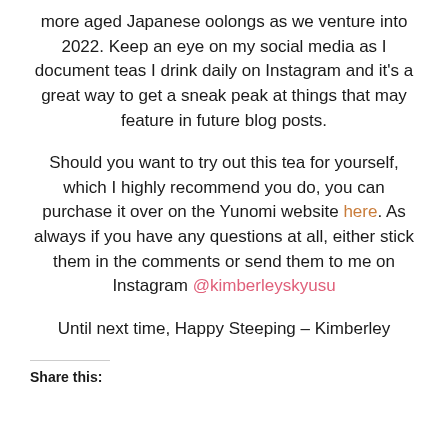more aged Japanese oolongs as we venture into 2022. Keep an eye on my social media as I document teas I drink daily on Instagram and it's a great way to get a sneak peak at things that may feature in future blog posts.
Should you want to try out this tea for yourself, which I highly recommend you do, you can purchase it over on the Yunomi website here. As always if you have any questions at all, either stick them in the comments or send them to me on Instagram @kimberleyskyusu
Until next time, Happy Steeping – Kimberley
Share this: